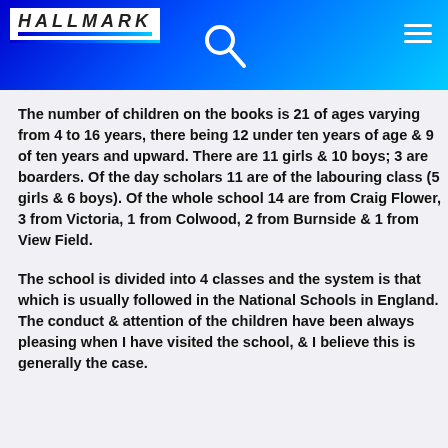[Figure (logo): Hallmark logo with italic bold text and colored stripe underline]
The number of children on the books is 21 of ages varying from 4 to 16 years, there being 12 under ten years of age & 9 of ten years and upward. There are 11 girls & 10 boys; 3 are boarders. Of the day scholars 11 are of the labouring class (5 girls & 6 boys). Of the whole school 14 are from Craig Flower, 3 from Victoria, 1 from Colwood, 2 from Burnside & 1 from View Field.
The school is divided into 4 classes and the system is that which is usually followed in the National Schools in England. The conduct & attention of the children have been always pleasing when I have visited the school, & I believe this is generally the case.